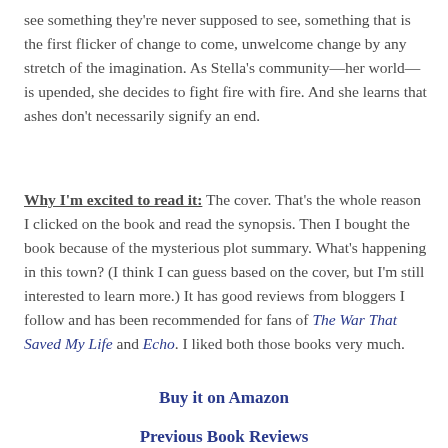see something they're never supposed to see, something that is the first flicker of change to come, unwelcome change by any stretch of the imagination. As Stella's community—her world—is upended, she decides to fight fire with fire. And she learns that ashes don't necessarily signify an end.
Why I'm excited to read it: The cover. That's the whole reason I clicked on the book and read the synopsis. Then I bought the book because of the mysterious plot summary. What's happening in this town? (I think I can guess based on the cover, but I'm still interested to learn more.) It has good reviews from bloggers I follow and has been recommended for fans of The War That Saved My Life and Echo. I liked both those books very much.
Buy it on Amazon
Previous Book Reviews